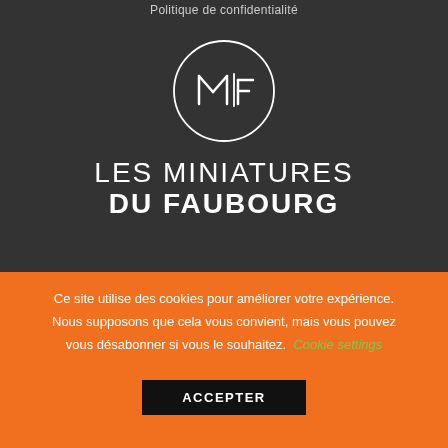Politique de confidentialité
[Figure (logo): Circular logo with letters M and F stylized inside a thin circle, white on dark background. Below: LES MINIATURES DU FAUBOURG in white text.]
LES MINIATURES DU FAUBOURG
Ce site utilise des cookies pour améliorer votre expérience. Nous supposons que cela vous convient, mais vous pouvez vous désabonner si vous le souhaitez. Cookie settings
ACCEPTER